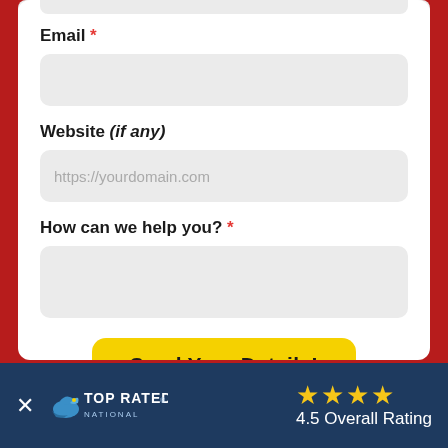Email *
[Figure (screenshot): Empty email input field with light gray rounded rectangle background]
Website (if any)
[Figure (screenshot): Website input field with placeholder text 'https://yourdomain.com']
How can we help you? *
[Figure (screenshot): Empty textarea input field with light gray rounded rectangle background]
Send Your Details!
[Figure (screenshot): Top Rated National banner with 4.5 Overall Rating and 4 gold stars on dark navy background]